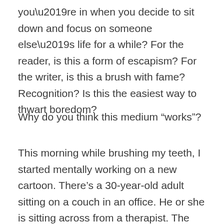you’re in when you decide to sit down and focus on someone else’s life for a while? For the reader, is this a form of escapism? For the writer, is this a brush with fame? Recognition? Is this the easiest way to thwart boredom?
Why do you think this medium “works”?
This morning while brushing my teeth, I started mentally working on a new cartoon. There’s a 30-year-old adult sitting on a couch in an office. He or she is sitting across from a therapist. The doctor is nodding behind understanding eyes. The patient lies back with their